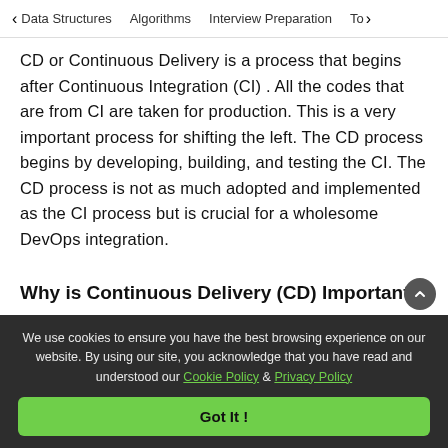< Data Structures  Algorithms  Interview Preparation  To>
CD or Continuous Delivery is a process that begins after Continuous Integration (CI). All the codes that are from CI are taken for production. This is a very important process for shifting the left. The CD process begins by developing, building, and testing the CI. The CD process is not as much adopted and implemented as the CI process but is crucial for a wholesome DevOps integration.
Why is Continuous Delivery (CD) Important?
We use cookies to ensure you have the best browsing experience on our website. By using our site, you acknowledge that you have read and understood our Cookie Policy & Privacy Policy
Got It !